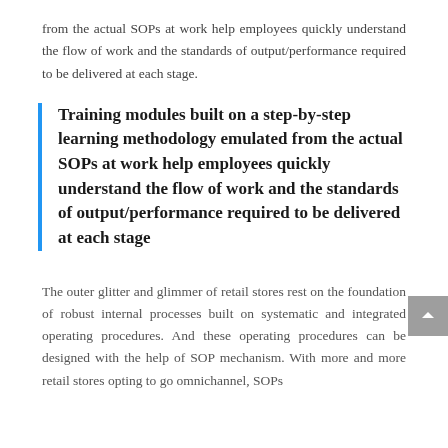from the actual SOPs at work help employees quickly understand the flow of work and the standards of output/performance required to be delivered at each stage.
Training modules built on a step-by-step learning methodology emulated from the actual SOPs at work help employees quickly understand the flow of work and the standards of output/performance required to be delivered at each stage
The outer glitter and glimmer of retail stores rest on the foundation of robust internal processes built on systematic and integrated operating procedures. And these operating procedures can be designed with the help of SOP mechanism. With more and more retail stores opting to go omnichannel, SOPs